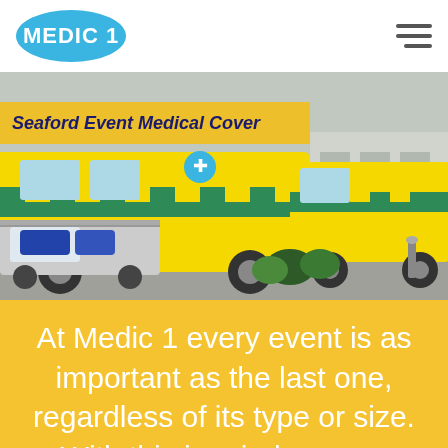MEDIC 1
[Figure (photo): Ambulances parked in a lot with yellow-green livery, alongside a medical golf cart with equipment. Yellow banner overlay reads 'Seaford Event Medical Cover'.]
At Medic 1 every event is as important as the last one, regardless of its type or size. With this in mind, we are committed to providing excellent and